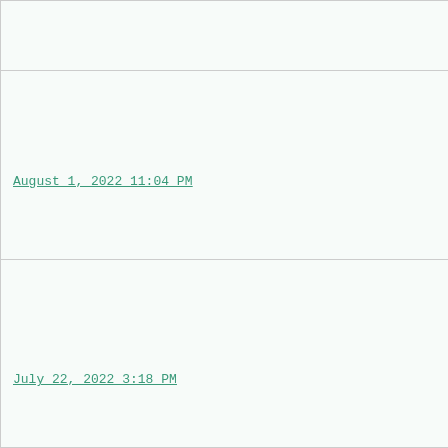| Date | Title | Right column (partial) |
| --- | --- | --- |
|  |  | Xa... |
| August 1, 2022 11:04 PM | fWAR! What Is It Good For? | A...
C...
Chr...
CHO... |
| July 22, 2022 3:18 PM | Realsville | P... |